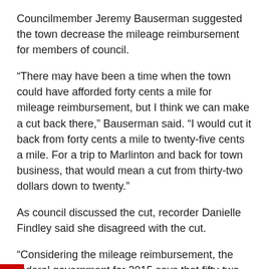Councilmember Jeremy Bauserman suggested the town decrease the mileage reimbursement for members of council.
“There may have been a time when the town could have afforded forty cents a mile for mileage reimbursement, but I think we can make a cut back there,” Bauserman said. “I would cut it back from forty cents a mile to twenty-five cents a mile. For a trip to Marlinton and back for town business, that would mean a cut from thirty-two dollars down to twenty.”
As council discussed the cut, recorder Danielle Findley said she disagreed with the cut.
“Considering the mileage reimbursement, the federal government for 2015 says that fifty-two cents a mile is fair reimbursement because of, not only gas, but the wear and